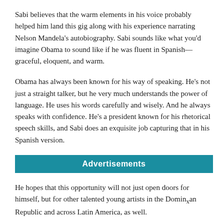Sabi believes that the warm elements in his voice probably helped him land this gig along with his experience narrating Nelson Mandela's autobiography. Sabi sounds like what you'd imagine Obama to sound like if he was fluent in Spanish—graceful, eloquent, and warm.
Obama has always been known for his way of speaking. He's not just a straight talker, but he very much understands the power of language. He uses his words carefully and wisely. And he always speaks with confidence. He's a president known for his rhetorical speech skills, and Sabi does an exquisite job capturing that in his Spanish version.
Advertisements
He hopes that this opportunity will not just open doors for himself, but for other talented young artists in the Dominican Republic and across Latin America, as well.